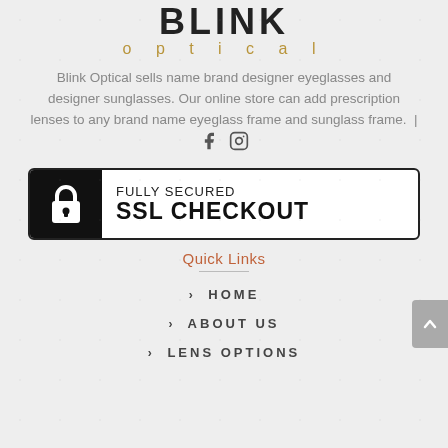[Figure (logo): Blink Optical logo — BLINK in bold dark text above 'optical' in spaced gold/tan letters]
Blink Optical sells name brand designer eyeglasses and designer sunglasses. Our online store can add prescription lenses to any brand name eyeglass frame and sunglass frame. | [Facebook icon] [Instagram icon]
[Figure (infographic): FULLY SECURED SSL CHECKOUT badge with lock icon on black background]
Quick Links
> HOME
> ABOUT US
> LENS OPTIONS